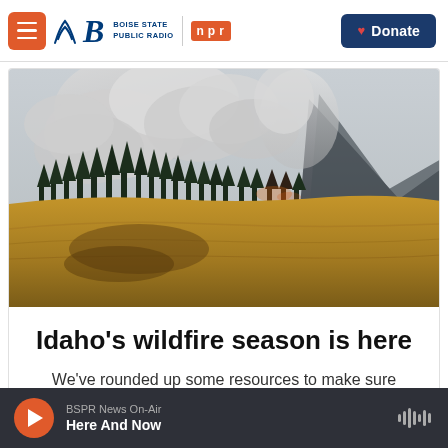Boise State Public Radio | NPR | Donate
[Figure (photo): Wildfire scene with large smoke plumes rising above a conifer forest on a hillside, with dry golden meadow in the foreground and a mountain peak in the background]
Idaho's wildfire season is here
We've rounded up some resources to make sure you're prepared.
BSPR News On-Air — Here And Now